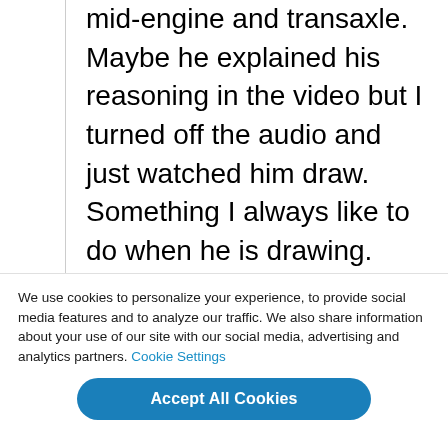design feels far to short to support the mid-engine and transaxle. Maybe he explained his reasoning in the video but I turned off the audio and just watched him draw. Something I always like to do when he is drawing. Sorry Chip, you lost me on this one. Too many curves mean too much drag coefficient and I really don't care about its lineage. With all your heritage lineage in mind, how would you explain that high frequency note coming from that flat-plane turning 8500 RPM? If you
We use cookies to personalize your experience, to provide social media features and to analyze our traffic. We also share information about your use of our site with our social media, advertising and analytics partners. Cookie Settings
Accept All Cookies